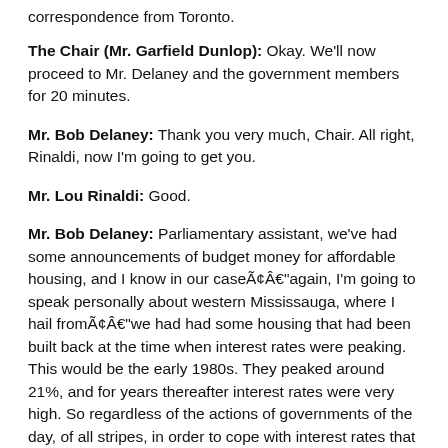correspondence from Toronto.
The Chair (Mr. Garfield Dunlop): Okay. We'll now proceed to Mr. Delaney and the government members for 20 minutes.
Mr. Bob Delaney: Thank you very much, Chair. All right, Rinaldi, now I'm going to get you.
Mr. Lou Rinaldi: Good.
Mr. Bob Delaney: Parliamentary assistant, we've had some announcements of budget money for affordable housing, and I know in our caseâagain, I'm going to speak personally about western Mississauga, where I hail fromâwe had had some housing that had been built back at the time when interest rates were peaking. This would be the early 1980s. They peaked around 21%, and for years thereafter interest rates were very high. So regardless of the actions of governments of the day, of all stripes, in order to cope with interest rates that were way higher than